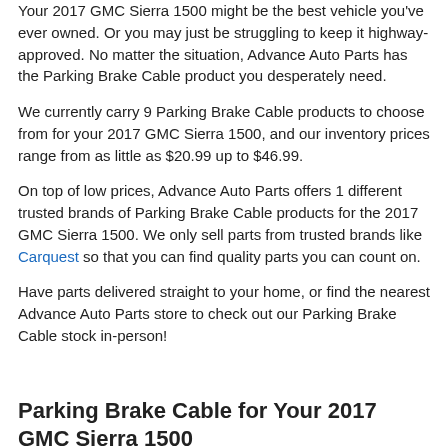Your 2017 GMC Sierra 1500 might be the best vehicle you've ever owned. Or you may just be struggling to keep it highway-approved. No matter the situation, Advance Auto Parts has the Parking Brake Cable product you desperately need.
We currently carry 9 Parking Brake Cable products to choose from for your 2017 GMC Sierra 1500, and our inventory prices range from as little as $20.99 up to $46.99.
On top of low prices, Advance Auto Parts offers 1 different trusted brands of Parking Brake Cable products for the 2017 GMC Sierra 1500. We only sell parts from trusted brands like Carquest so that you can find quality parts you can count on.
Have parts delivered straight to your home, or find the nearest Advance Auto Parts store to check out our Parking Brake Cable stock in-person!
Parking Brake Cable for Your 2017 GMC Sierra 1500
Search through our amazing selection of Parking Brake Cable